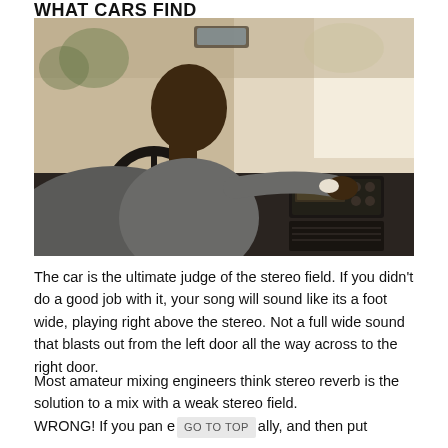WHAT CARS FIND
[Figure (photo): A man in a grey suit sitting in the driver's seat of a car, reaching toward the car stereo/dashboard controls, viewed from behind and to the side.]
The car is the ultimate judge of the stereo field.  If you didn't do a good job with it, your song will sound like its a foot wide, playing right above the stereo.   Not a full wide sound that blasts out from the left door all the way across to the right door.
Most amateur mixing engineers think stereo reverb is the solution to a mix with a weak stereo field. WRONG!  If you pan e [GO TO TOP] ally, and then put